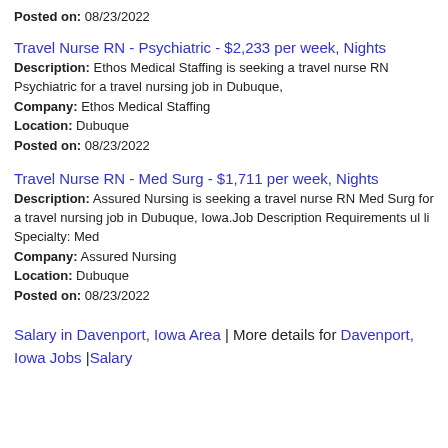Posted on: 08/23/2022
Travel Nurse RN - Psychiatric - $2,233 per week, Nights
Description: Ethos Medical Staffing is seeking a travel nurse RN Psychiatric for a travel nursing job in Dubuque,
Company: Ethos Medical Staffing
Location: Dubuque
Posted on: 08/23/2022
Travel Nurse RN - Med Surg - $1,711 per week, Nights
Description: Assured Nursing is seeking a travel nurse RN Med Surg for a travel nursing job in Dubuque, Iowa.Job Description Requirements ul li Specialty: Med
Company: Assured Nursing
Location: Dubuque
Posted on: 08/23/2022
Salary in Davenport, Iowa Area | More details for Davenport, Iowa Jobs |Salary